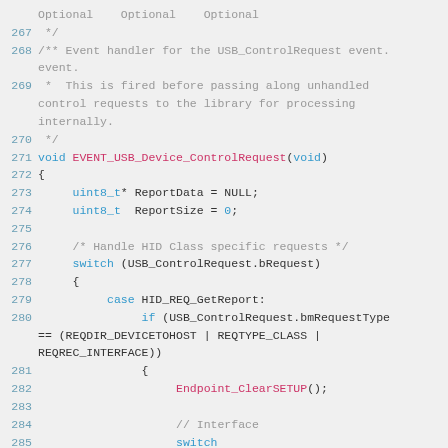[Figure (screenshot): Source code snippet showing C code lines 267-285 with syntax highlighting. Lines include a comment block for EVENT_USB_Device_ControlRequest, variable declarations for ReportData and ReportSize, a switch statement on USB_ControlRequest.bRequest, a case for HID_REQ_GetReport with an if condition checking bmRequestType, and a call to Endpoint_ClearSETUP().]